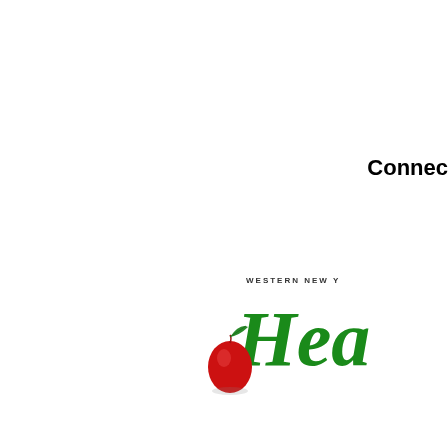Connec
[Figure (logo): Western New York Health logo featuring a red apple with green leaf and cursive green 'Hea' script text with 'WESTERN NEW Y' in small caps above]